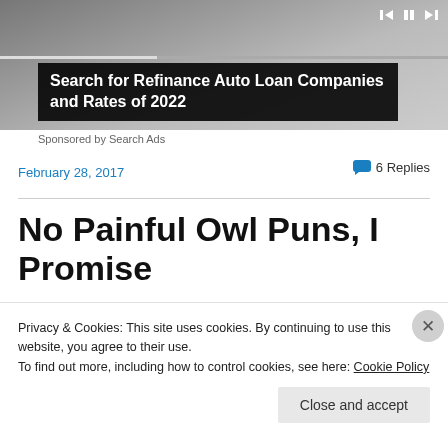[Figure (screenshot): Ad banner with car image, playback controls, and text overlay: 'Search for Refinance Auto Loan Companies and Rates of 2022']
Sponsored by Search Ads
February 28, 2017
6 Replies
No Painful Owl Puns, I Promise
[Figure (photo): Colorful abstract/owl image strip]
Privacy & Cookies: This site uses cookies. By continuing to use this website, you agree to their use.
To find out more, including how to control cookies, see here: Cookie Policy